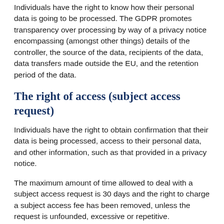Individuals have the right to know how their personal data is going to be processed. The GDPR promotes transparency over processing by way of a privacy notice encompassing (amongst other things) details of the controller, the source of the data, recipients of the data, data transfers made outside the EU, and the retention period of the data.
The right of access (subject access request)
Individuals have the right to obtain confirmation that their data is being processed, access to their personal data, and other information, such as that provided in a privacy notice.
The maximum amount of time allowed to deal with a subject access request is 30 days and the right to charge a subject access fee has been removed, unless the request is unfounded, excessive or repetitive.
The right to rectification